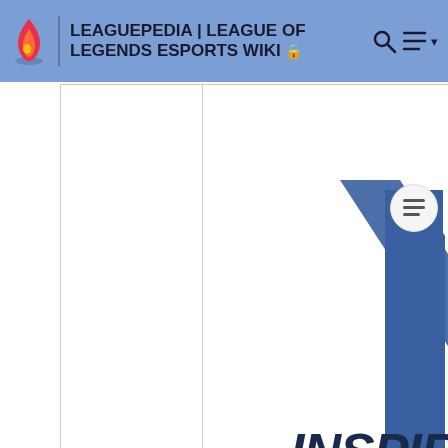LEAGUEPEDIA | LEAGUE OF LEGENDS ESPORTS WIKI
[Figure (logo): Inspire eSports logo — a bold blue stylized letter 'I' with diagonal slash lines, and the wordmark 'INSPIRE ESPORTS' in navy blue below]
Inspire eSports was a European Challenger team.
[Figure (other): Gray placeholder box (loading or advertisement area)]